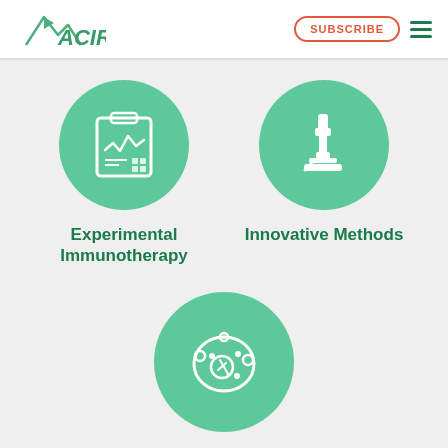ACIR | SUBSCRIBE
[Figure (illustration): Green circle icon with clipboard/chart graphic representing Experimental Immunotherapy]
Experimental Immunotherapy
[Figure (illustration): Green circle icon with microscope graphic representing Innovative Methods]
Innovative Methods
[Figure (illustration): Green circle icon with cell/biology graphic at bottom center]